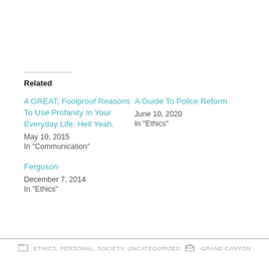Related
4 GREAT, Foolproof Reasons To Use Profanity In Your Everyday Life. Hell Yeah.
May 10, 2015
In "Communication"
A Guide To Police Reform
June 10, 2020
In "Ethics"
Ferguson
December 7, 2014
In "Ethics"
ETHICS, PERSONAL, SOCIETY, UNCATEGORIZED     GRAND CANYON